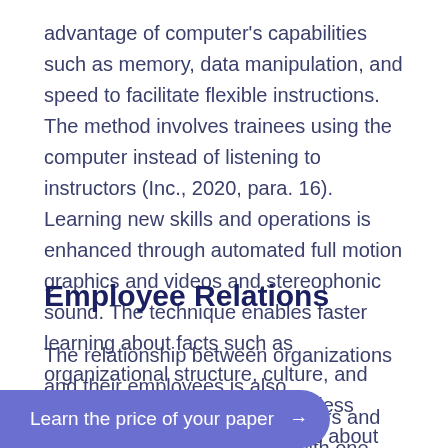advantage of computer's capabilities such as memory, data manipulation, and speed to facilitate flexible instructions. The method involves trainees using the computer instead of listening to instructors (Inc., 2020, para. 16). Learning new skills and operations is enhanced through automated full motion graphics and videos and stereophonic sound. The technique enables faster learning about facts such as organizational structure, culture, and values. However, CBT may be less effective in teaching employees about changing attitudes and human skills.
Employee Relations
The relationship between organizations and their employees is also important. Workers and ... benefits, with one